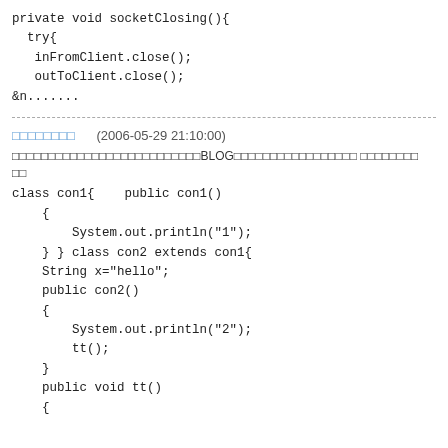private void socketClosing(){
  try{
   inFromClient.close();
   outToClient.close();
&n.......
□□□□□□□□    (2006-05-29 21:10:00)
□□□□□□□□□□□□□□□□□□□□□□□□□□BLOG□□□□□□□□□□□□□□□□□ □□□□□□□□ □□
class con1{    public con1()
    {
        System.out.println("1");
    } } class con2 extends con1{
    String x="hello";
    public con2()
    {
        System.out.println("2");
        tt();
    }
    public void tt()
    {